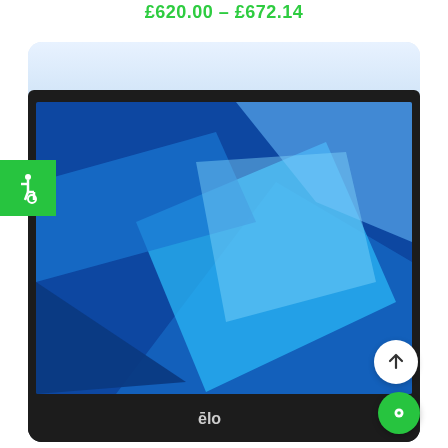£620.00 – £672.14
[Figure (photo): Elo touchscreen monitor with black bezel displaying a blue geometric wallpaper, shown inside a light blue rounded card. A green accessibility icon badge appears on the left. A white scroll-up button and green chat button appear at bottom right.]